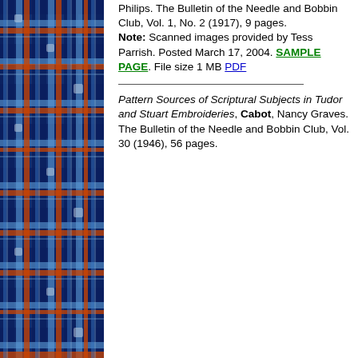[Figure (illustration): Tartan plaid pattern in blue, red, orange, white on left side of page]
Philips. The Bulletin of the Needle and Bobbin Club, Vol. 1, No. 2 (1917), 9 pages. Note: Scanned images provided by Tess Parrish. Posted March 17, 2004. SAMPLE PAGE. File size 1 MB PDF
Pattern Sources of Scriptural Subjects in Tudor and Stuart Embroideries, Cabot, Nancy Graves. The Bulletin of the Needle and Bobbin Club, Vol. 30 (1946), 56 pages.